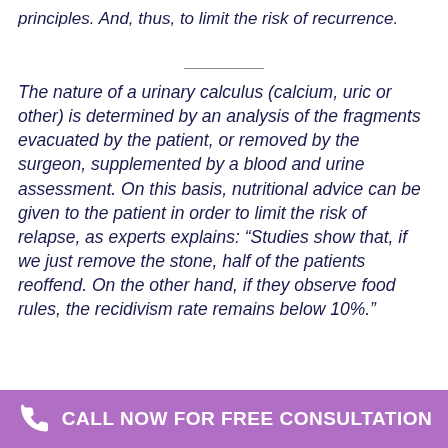principles. And, thus, to limit the risk of recurrence.
The nature of a urinary calculus (calcium, uric or other) is determined by an analysis of the fragments evacuated by the patient, or removed by the surgeon, supplemented by a blood and urine assessment. On this basis, nutritional advice can be given to the patient in order to limit the risk of relapse, as experts explains: “Studies show that, if we just remove the stone, half of the patients reoffend. On the other hand, if they observe food rules, the recidivism rate remains below 10%.”
CALL NOW FOR FREE CONSULTATION